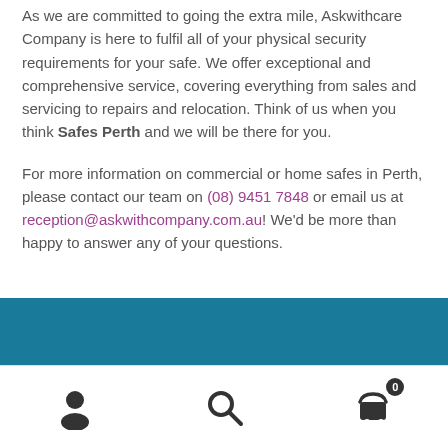As we are committed to going the extra mile, Askwithcare Company is here to fulfil all of your physical security requirements for your safe. We offer exceptional and comprehensive service, covering everything from sales and servicing to repairs and relocation. Think of us when you think Safes Perth and we will be there for you.
For more information on commercial or home safes in Perth, please contact our team on (08) 9451 7848 or email us at reception@askwithcompany.com.au! We'd be more than happy to answer any of your questions.
[Figure (other): Teal/blue footer banner bar]
Bottom navigation bar with user account icon, search icon, and shopping cart icon with badge showing 0